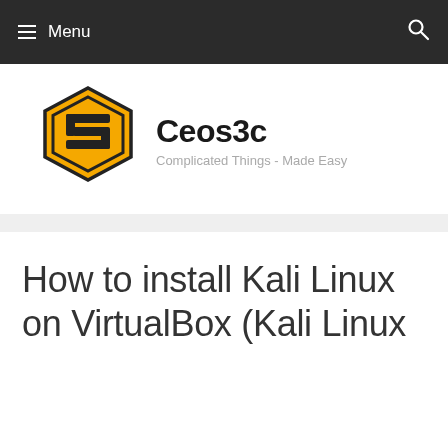Menu
[Figure (logo): Ceos3c hexagon logo in orange and black]
Ceos3c
Complicated Things - Made Easy
How to install Kali Linux on VirtualBox (Kali Linux